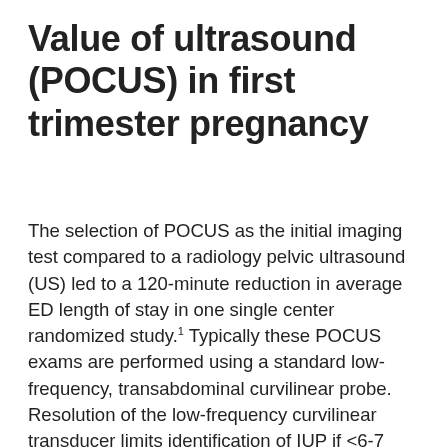Value of ultrasound (POCUS) in first trimester pregnancy
The selection of POCUS as the initial imaging test compared to a radiology pelvic ultrasound (US) led to a 120-minute reduction in average ED length of stay in one single center randomized study.1 Typically these POCUS exams are performed using a standard low-frequency, transabdominal curvilinear probe. Resolution of the low-frequency curvilinear transducer limits identification of IUP if <6-7 weeks gestation, with a majority of literature estimating approximately 20% failure rate.2